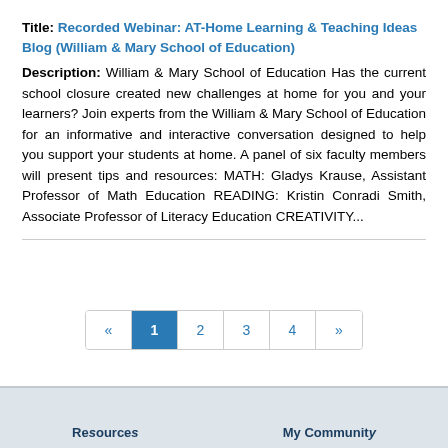Title: Recorded Webinar: AT-Home Learning & Teaching Ideas Blog (William & Mary School of Education)
Description: William & Mary School of Education Has the current school closure created new challenges at home for you and your learners? Join experts from the William & Mary School of Education for an informative and interactive conversation designed to help you support your students at home. A panel of six faculty members will present tips and resources: MATH: Gladys Krause, Assistant Professor of Math Education READING: Kristin Conradi Smith, Associate Professor of Literacy Education CREATIVITY...
« 1 2 3 4 »